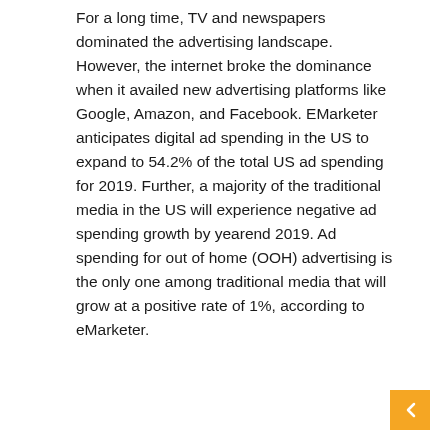For a long time, TV and newspapers dominated the advertising landscape. However, the internet broke the dominance when it availed new advertising platforms like Google, Amazon, and Facebook. EMarketer anticipates digital ad spending in the US to expand to 54.2% of the total US ad spending for 2019. Further, a majority of the traditional media in the US will experience negative ad spending growth by yearend 2019. Ad spending for out of home (OOH) advertising is the only one among traditional media that will grow at a positive rate of 1%, according to eMarketer.